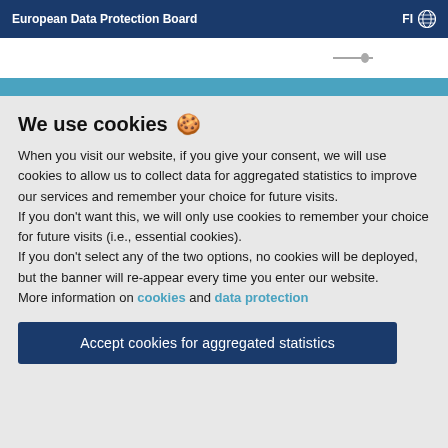European Data Protection Board   FI 🌐
We use cookies 🍪
When you visit our website, if you give your consent, we will use cookies to allow us to collect data for aggregated statistics to improve our services and remember your choice for future visits.
If you don't want this, we will only use cookies to remember your choice for future visits (i.e., essential cookies).
If you don't select any of the two options, no cookies will be deployed, but the banner will re-appear every time you enter our website.
More information on cookies and data protection
Accept cookies for aggregated statistics